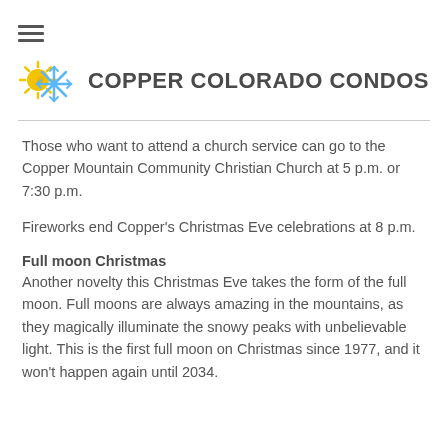[Figure (logo): Copper Colorado Condos logo with sun and snowflake icons and bold uppercase text]
Those who want to attend a church service can go to the Copper Mountain Community Christian Church at 5 p.m. or 7:30 p.m.
Fireworks end Copper's Christmas Eve celebrations at 8 p.m.
Full moon Christmas
Another novelty this Christmas Eve takes the form of the full moon. Full moons are always amazing in the mountains, as they magically illuminate the snowy peaks with unbelievable light. This is the first full moon on Christmas since 1977, and it won't happen again until 2034.